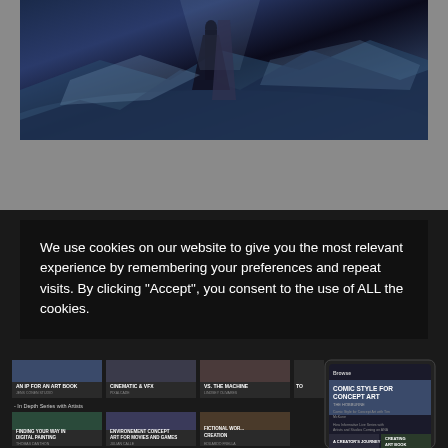[Figure (illustration): Dark fantasy digital artwork showing a figure in a snowy/icy scene with blue tones, appearing to be concept art]
We use cookies on our website to give you the most relevant experience by remembering your preferences and repeat visits. By clicking "Accept", you consent to the use of ALL the cookies.
[Figure (screenshot): Screenshot of an art education website/app showing course thumbnails including titles: AN IP FOR AN ART BOOK, CINEMATIC & VFX, VS. THE MACHINE, In Depth Series with Artists, FINDING YOUR WAY IN DIGITAL PAINTING, ENVIRONEMENT CONCEPT ART FOR MOVIES AND GAMES, FICTIONAL WORLD CREATION, and a mobile phone showing COMIC STYLE FOR CONCEPT ART]